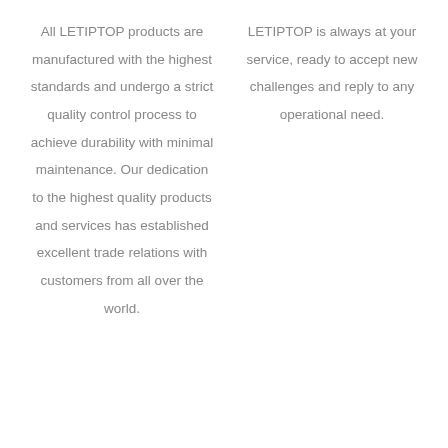All LETIPTOP products are manufactured with the highest standards and undergo a strict quality control process to achieve durability with minimal maintenance. Our dedication to the highest quality products and services has established excellent trade relations with customers from all over the world.
LETIPTOP is always at your service, ready to accept new challenges and reply to any operational need.